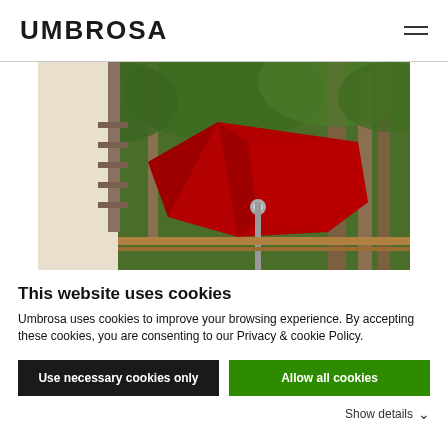UMBROSA
[Figure (photo): A large red cantilever patio umbrella open outdoors near a building with trees in the background]
This website uses cookies
Umbrosa uses cookies to improve your browsing experience. By accepting these cookies, you are consenting to our Privacy & cookie Policy.
Use necessary cookies only
Allow all cookies
Show details